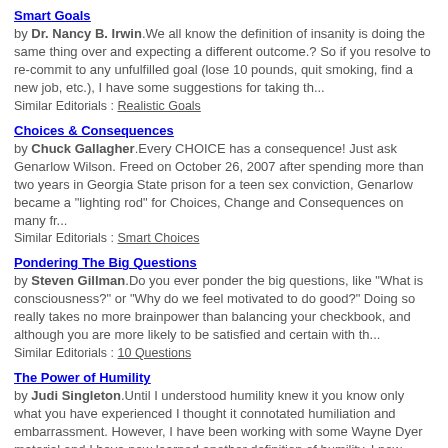Smart Goals
by Dr. Nancy B. Irwin.We all know the definition of insanity is doing the same thing over and expecting a different outcome.? So if you resolve to re-commit to any unfulfilled goal (lose 10 pounds, quit smoking, find a new job, etc.), I have some suggestions for taking th...
Similar Editorials : Realistic Goals
Choices & Consequences
by Chuck Gallagher.Every CHOICE has a consequence! Just ask Genarlow Wilson. Freed on October 26, 2007 after spending more than two years in Georgia State prison for a teen sex conviction, Genarlow became a "lighting rod" for Choices, Change and Consequences on many fr...
Similar Editorials : Smart Choices
Pondering The Big Questions
by Steven Gillman.Do you ever ponder the big questions, like "What is consciousness?" or "Why do we feel motivated to do good?" Doing so really takes no more brainpower than balancing your checkbook, and although you are more likely to be satisfied and certain with th...
Similar Editorials : 10 Questions
The Power of Humility
by Judi Singleton.Until I understood humility knew it you know only what you have experienced I thought it connotated humiliation and embarrassment. However, I have been working with some Wayne Dyer material and I have now learned another definition of humility. I now...
Similar Editorials : The Power of Ice